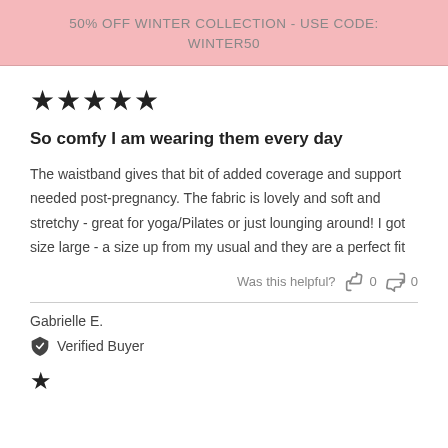50% OFF WINTER COLLECTION - USE CODE: WINTER50
[Figure (other): Five filled black star rating icons]
So comfy I am wearing them every day
The waistband gives that bit of added coverage and support needed post-pregnancy. The fabric is lovely and soft and stretchy - great for yoga/Pilates or just lounging around! I got size large - a size up from my usual and they are a perfect fit
Was this helpful? 0 0
Gabrielle E.
Verified Buyer